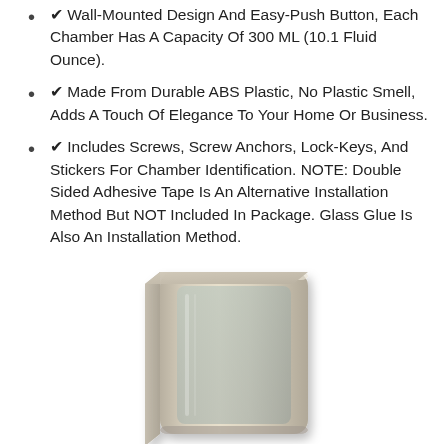✔ Wall-Mounted Design And Easy-Push Button, Each Chamber Has A Capacity Of 300 ML (10.1 Fluid Ounce).
✔ Made From Durable ABS Plastic, No Plastic Smell, Adds A Touch Of Elegance To Your Home Or Business.
✔ Includes Screws, Screw Anchors, Lock-Keys, And Stickers For Chamber Identification. NOTE: Double Sided Adhesive Tape Is An Alternative Installation Method But NOT Included In Package. Glass Glue Is Also An Installation Method.
[Figure (photo): A wall-mounted soap dispenser unit with a silver/champagne colored rectangular housing, showing the front panel with a transparent window area.]